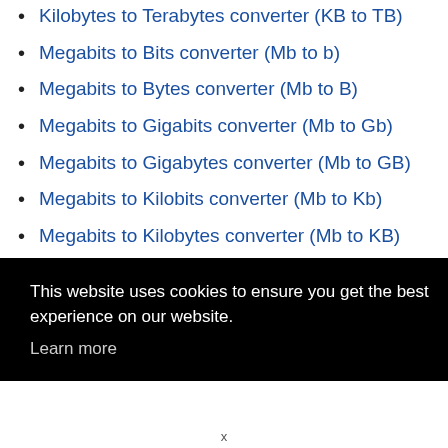Kilobytes to Terabytes converter (KB to TB)
Megabits to Bits converter (Mb to b)
Megabits to Bytes converter (Mb to B)
Megabits to Gigabits converter (Mb to Gb)
Megabits to Gigabytes converter (Mb to GB)
Megabits to Kilobits converter (Mb to Kb)
Megabits to Kilobytes converter (Mb to KB)
This website uses cookies to ensure you get the best experience on our website. Learn more